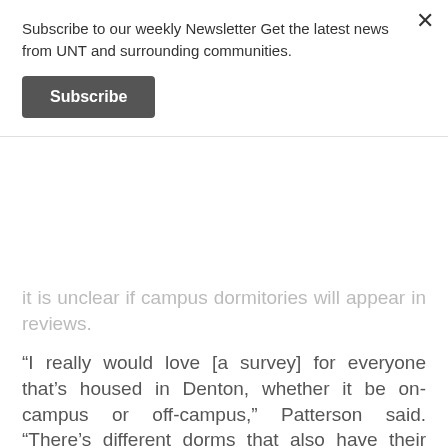Subscribe to our weekly Newsletter Get the latest news from UNT and surrounding communities.
Subscribe
it is unclear if campus dormitories will appear in reviews.
“I really would love [a survey] for everyone that's housed in Denton, whether it be on-campus or off-campus,” Patterson said. “There’s different dorms that also have their own little things that are wrong with them, so we want to make sure that students know, that incoming freshmen know.”
The rating system would most likely operate on a five-point scale and rate different aspects of an apartment, like the presence of